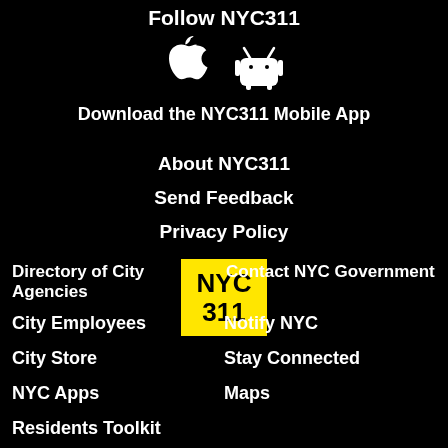Follow NYC311
[Figure (illustration): Apple and Android app store icons (white on black background)]
Download the NYC311 Mobile App
About NYC311
Send Feedback
Privacy Policy
[Figure (logo): NYC311 logo — yellow rectangle with black bold text reading NYC 311]
Directory of City Agencies
Contact NYC Government
City Employees
Notify NYC
City Store
Stay Connected
NYC Apps
Maps
Residents Toolkit